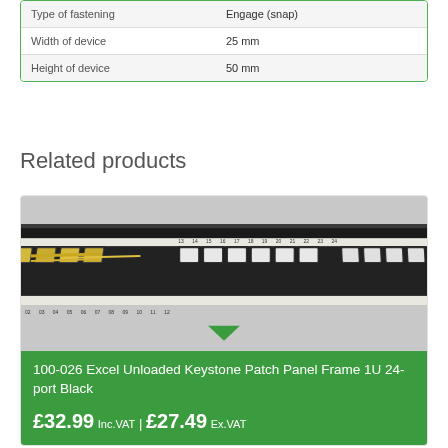| Type of fastening | Engage (snap) |
| Width of device | 25 mm |
| Height of device | 50 mm |
Related products
[Figure (photo): Photo of a 100-026 Excel Unloaded Keystone Patch Panel Frame 1U 24-port Black product, showing a black rack-mount panel with 24 empty keystone jack slots arranged in two rows, with gold cable visible inside.]
100-026 Excel Unloaded Keystone Patch Panel Frame 1U 24-port Black
£32.99 Inc.VAT | £27.49 Ex.VAT